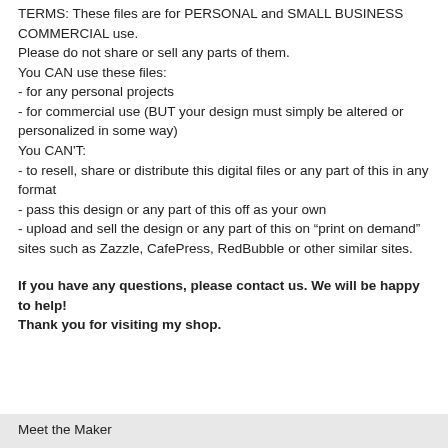TERMS: These files are for PERSONAL and SMALL BUSINESS COMMERCIAL use.
Please do not share or sell any parts of them.
You CAN use these files:
- for any personal projects
- for commercial use (BUT your design must simply be altered or personalized in some way)
You CAN'T:
- to resell, share or distribute this digital files or any part of this in any format
- pass this design or any part of this off as your own
- upload and sell the design or any part of this on "print on demand" sites such as Zazzle, CafePress, RedBubble or other similar sites.
If you have any questions, please contact us. We will be happy to help!
Thank you for visiting my shop.
Meet the Maker